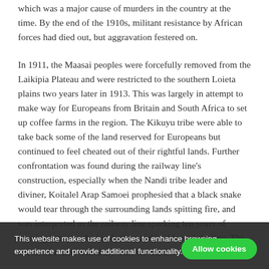which was a major cause of murders in the country at the time. By the end of the 1910s, militant resistance by African forces had died out, but aggravation festered on.
In 1911, the Maasai peoples were forcefully removed from the Laikipia Plateau and were restricted to the southern Loieta plains two years later in 1913. This was largely in attempt to make way for Europeans from Britain and South Africa to set up coffee farms in the region. The Kikuyu tribe were able to take back some of the land reserved for Europeans but continued to feel cheated out of their rightful lands. Further confrontation was found during the railway line's construction, especially when the Nandi tribe leader and diviner, Koitalel Arap Samoei prophesied that a black snake would tear through the surrounding lands spitting fire, and was interpreted as the railway line sparking ten years of warring between the local tribes and builders of the line. The country became a military base for the British in the First
This website makes use of cookies to enhance browsing experience and provide additional functionality. Details   Allow cookies